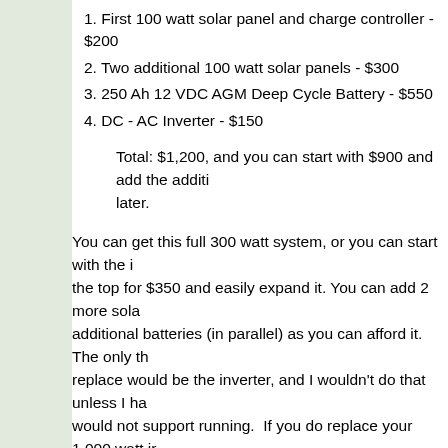1. First 100 watt solar panel and charge controller - $200
2. Two additional 100 watt solar panels - $300
3. 250 Ah 12 VDC AGM Deep Cycle Battery - $550
4. DC - AC Inverter - $150
Total: $1,200, and you can start with $900 and add the additional components later.
You can get this full 300 watt system, or you can start with the items at the top for $350 and easily expand it. You can add 2 more solar panels and additional batteries (in parallel) as you can afford it. The only thing you'd replace would be the inverter, and I wouldn't do that unless I had loads that would not support running. If you do replace your 1,000 watt inverter, you can still use this one with your car battery.
You may be able to use the solar panels to run some of your smaller appliances and save on your electric bill to help pay for this. However, and you should NOT attempt to wire it in to your house wiring. Power is limited and should be saved for emergency outages only; not running...
Note it is a good idea to keep an extra solar panel and charge controller in case of an EMP. Couple it with your car battery...